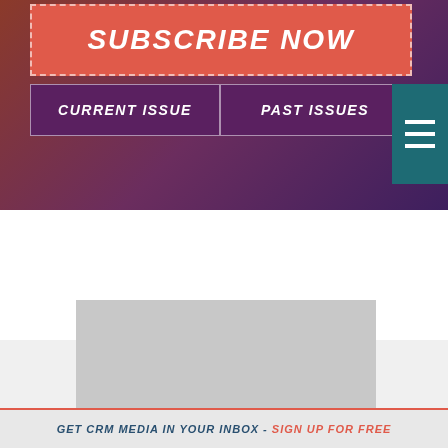[Figure (screenshot): Website header banner with gradient background (red to purple). Contains a Subscribe Now button in coral/red with dashed white border, two navigation buttons (CURRENT ISSUE, PAST ISSUES) in dark purple, and a teal hamburger menu icon on the right.]
[Figure (other): Gray placeholder/content box in the lower portion of the page]
GET CRM MEDIA IN YOUR INBOX - SIGN UP FOR FREE